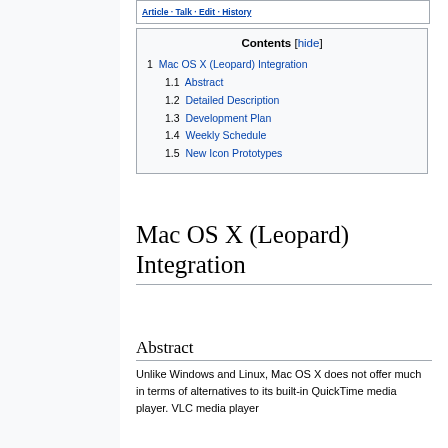1 Mac OS X (Leopard) Integration
1.1 Abstract
1.2 Detailed Description
1.3 Development Plan
1.4 Weekly Schedule
1.5 New Icon Prototypes
Mac OS X (Leopard) Integration
Abstract
Unlike Windows and Linux, Mac OS X does not offer much in terms of alternatives to its built-in QuickTime media player. VLC media player